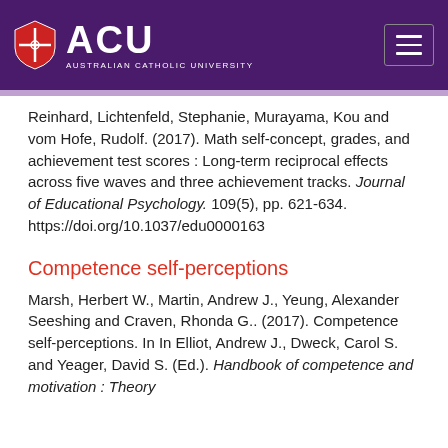[Figure (logo): ACU Australian Catholic University logo with shield on purple header background and hamburger menu icon]
Reinhard, Lichtenfeld, Stephanie, Murayama, Kou and vom Hofe, Rudolf. (2017). Math self-concept, grades, and achievement test scores : Long-term reciprocal effects across five waves and three achievement tracks. Journal of Educational Psychology. 109(5), pp. 621-634. https://doi.org/10.1037/edu0000163
Competence self-perceptions
Marsh, Herbert W., Martin, Andrew J., Yeung, Alexander Seeshing and Craven, Rhonda G.. (2017). Competence self-perceptions. In In Elliot, Andrew J., Dweck, Carol S. and Yeager, David S. (Ed.). Handbook of competence and motivation : Theory